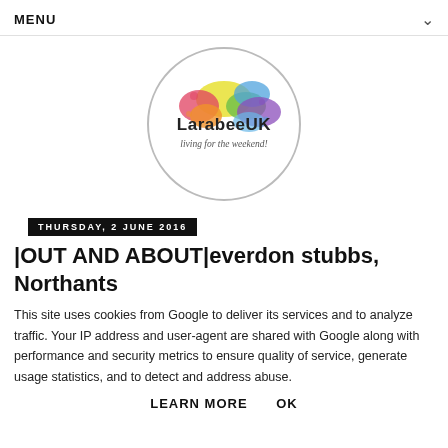MENU
[Figure (logo): LarabeeUK circular logo with colorful paint splashes and text 'LarabeeUK' and 'living for the weekend!']
THURSDAY, 2 JUNE 2016
|OUT AND ABOUT|everdon stubbs, Northants
This site uses cookies from Google to deliver its services and to analyze traffic. Your IP address and user-agent are shared with Google along with performance and security metrics to ensure quality of service, generate usage statistics, and to detect and address abuse.
LEARN MORE    OK